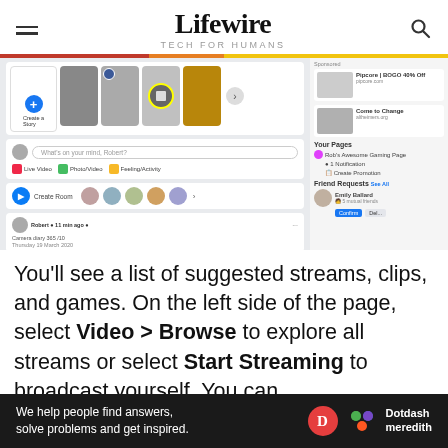Lifewire TECH FOR HUMANS
[Figure (screenshot): A Facebook homepage screenshot showing Stories, a post compose box, Create Room row, and a post, with a right sidebar showing ads, Your Pages, and Friend Requests.]
You'll see a list of suggested streams, clips, and games. On the left side of the page, select Video > Browse to explore all streams or select Start Streaming to broadcast yourself. You can
[Figure (infographic): A dark footer banner reading: We help people find answers, solve problems and get inspired. with the Dotdash Meredith logo on the right.]